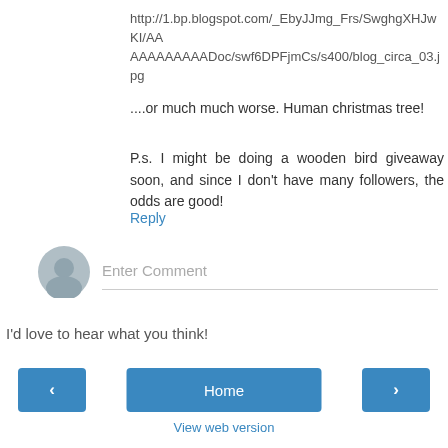http://1.bp.blogspot.com/_EbyJJmg_Frs/SwghgXHJwKI/AAAAAAAAAAADoc/swf6DPFjmCs/s400/blog_circa_03.jpg
....or much much worse. Human christmas tree!
P.s. I might be doing a wooden bird giveaway soon, and since I don't have many followers, the odds are good!
Reply
[Figure (other): User avatar circle icon (gray silhouette)]
Enter Comment
I'd love to hear what you think!
< (previous navigation button)
Home
> (next navigation button)
View web version
Powered by Blogger.